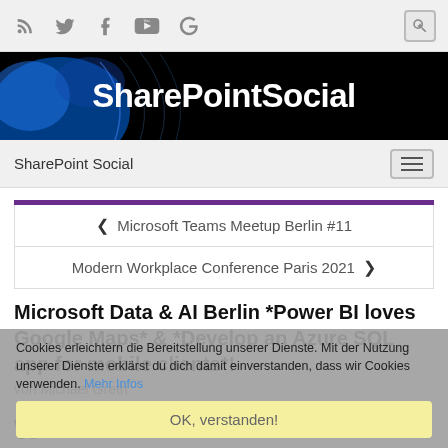SharePointSocial — icon bar with RSS, Twitter, Facebook, YouTube, Google icons
[Figure (screenshot): SharePointSocial website banner with dark background and blue abstract lighting, white bold text reading SharePointSocial]
SharePoint Social — navigation bar with hamburger menu
← Microsoft Teams Meetup Berlin #11
Modern Workplace Conference Paris 2021 →
Microsoft Data & AI Berlin *Power BI loves Google Maps* & *Develop an Azure SQL app for mobile clients*!
von Michael Greth
Cookies erleichtern die Bereitstellung unserer Dienste. Mit der Nutzung unserer Dienste erklärst du dich damit einverstanden, dass wir Cookies verwenden. Mehr Infos
OK, verstanden!
W…